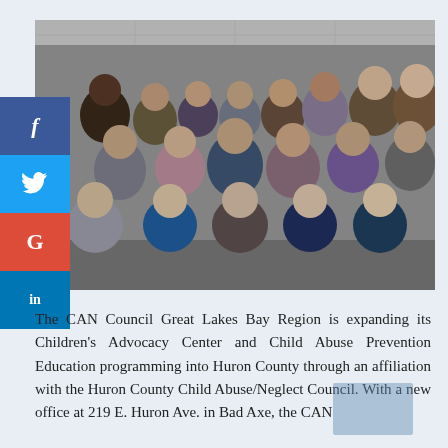[Figure (photo): Group photo of approximately 20 people posing together in a hallway or office corridor. Mix of adults of various ages smiling at the camera, arranged in several rows.]
The CAN Council Great Lakes Bay Region is expanding its Children's Advocacy Center and Child Abuse Prevention Education programming into Huron County through an affiliation with the Huron County Child Abuse/Neglect Council. With a new office at 219 E. Huron Ave. in Bad Axe, the CAN